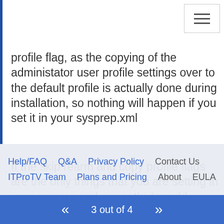profile flag, as the copying of the administator user profile settings over to the default profile is actually done during installation, so nothing will happen if you set it in your sysprep.xml
If the skip rearm and copy profile flags are the only things that you are setting in your sysprep.xml currently, I would suggest sysprepping the unit without applying a sysprep.xml file (I believe it does the re-arm automatically if I remember right), and then image a system with your copyprofile flag set in the default xml file...
Help/FAQ   Q&A   Privacy Policy   Contact Us   ITProTV Team   Plans and Pricing   About   EULA
3 out of 4